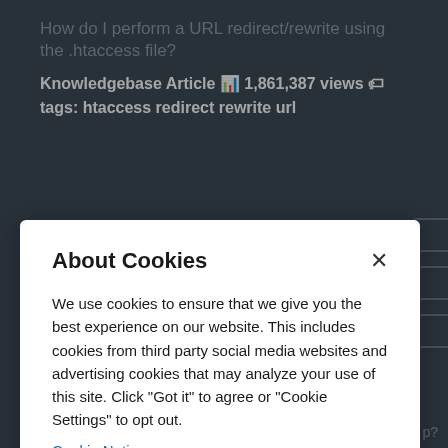How do I perform a URL redirect/rewrite using the .htaccess file?
Knowledgebase Article 1,861,387 views tags: htaccess redirect rewrite url
About Cookies
We use cookies to ensure that we give you the best experience on our website. This includes cookies from third party social media websites and advertising cookies that may analyze your use of this site. Click "Got it" to agree or "Cookie Settings" to opt out.
Cookie Notice
Got It
Cookies Settings